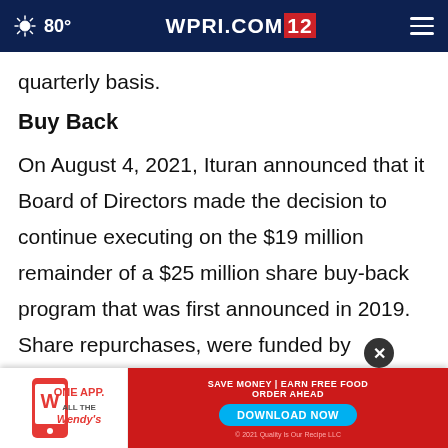80° WPRI.COM 12
quarterly basis.
Buy Back
On August 4, 2021, Ituran announced that it Board of Directors made the decision to continue executing on the $19 million remainder of a $25 million share buy-back program that was first announced in 2019. Share repurchases, were funded by available cash and repurchases of Ituran's ordinary shares under SEC Rule 10b-18 te
[Figure (screenshot): Wendy's ONE APP advertisement banner at bottom of screen with red background and blue download button]